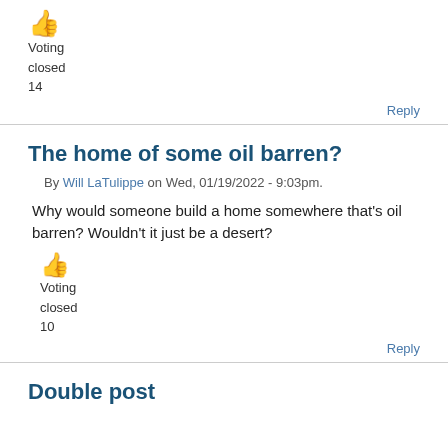[Figure (other): Thumbs up emoji icon (orange/yellow)]
Voting
closed
14
Reply
The home of some oil barren?
By Will LaTulippe on Wed, 01/19/2022 - 9:03pm.
Why would someone build a home somewhere that's oil barren? Wouldn't it just be a desert?
[Figure (other): Thumbs up emoji icon (orange/yellow)]
Voting
closed
10
Reply
Double post